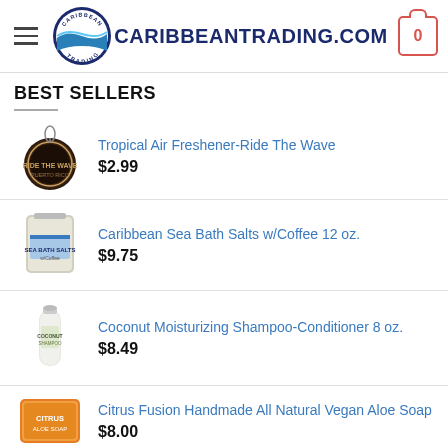[Figure (logo): CaribbeanTrading.com website header with hamburger menu, circular Caribbean Trading logo, site name text, and cart icon showing 0 items]
BEST SELLERS
Tropical Air Freshener-Ride The Wave $2.99
Caribbean Sea Bath Salts w/Coffee 12 oz. $9.75
Coconut Moisturizing Shampoo-Conditioner 8 oz. $8.49
Citrus Fusion Handmade All Natural Vegan Aloe Soap $8.00